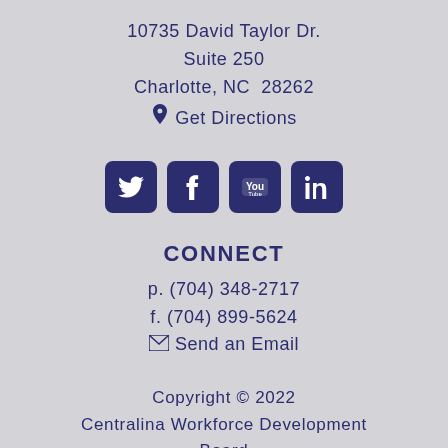10735 David Taylor Dr.
Suite 250
Charlotte, NC  28262
📍 Get Directions
[Figure (other): Four social media icon buttons: Twitter, Facebook, YouTube, LinkedIn — dark navy blue rounded square buttons with white icons]
CONNECT
p. (704) 348-2717
f. (704) 899-5624
✉ Send an Email
Copyright © 2022 Centralina Workforce Development Board